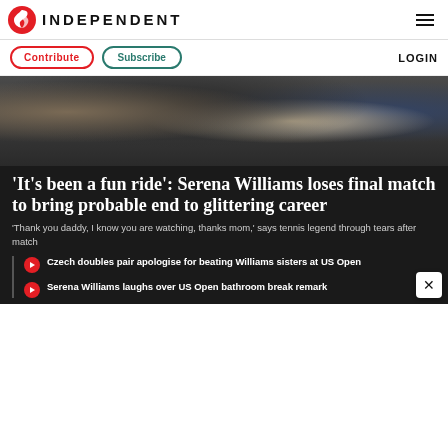INDEPENDENT
Contribute
Subscribe
LOGIN
[Figure (photo): Crowd of spectators at a tennis event, dark-toned photograph]
'It's been a fun ride': Serena Williams loses final match to bring probable end to glittering career
'Thank you daddy, I know you are watching, thanks mom,' says tennis legend through tears after match
Czech doubles pair apologise for beating Williams sisters at US Open
Serena Williams laughs over US Open bathroom break remark